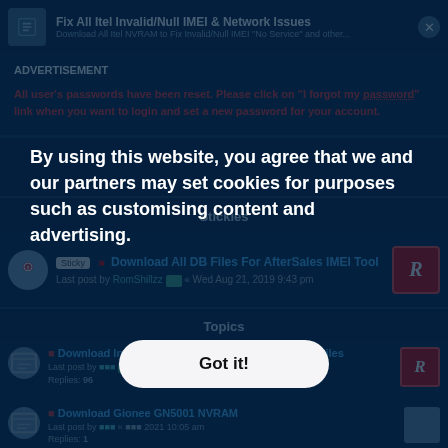Fix All Itel Invalid/Null IMEI & Network Issues
ADVERTISEMENT
All user's passwords have been reset. Please click on "I forgot my password" link when you want to login and set a new password for your account.
Stickies
Sticky ■ Download All DB Files For AfterSales IMEI Tool
Last post by RomShillzz □ « Wed Aug 21, 2019 9:43 pm
Topics
Download Infinix Smart X5010 NVRAM & Security Files
Last post by ••• « Sat Jun 25, 2022 11:25 am
Replies: 96
Download Gionee GN5001 NVRAM
Last post by ••• « ••• 2021 10:05 am
Replies: 1
By using this website, you agree that we and our partners may set cookies for purposes such as customising content and advertising.
Got it!